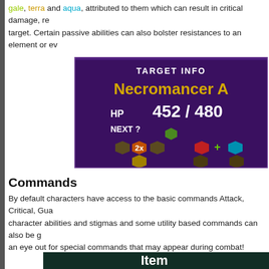gale, terra and aqua, attributed to them which can result in critical damage, reduce target. Certain passive abilities can also bolster resistances to an element or ev
[Figure (screenshot): Game UI screenshot showing TARGET INFO panel with Necromancer A, HP 452/480, NEXT? with element hexagon icons including green, orange 2x, red, plus, and blue markers on a purple background.]
Commands
By default characters have access to the basic commands Attack, Critical, Gua... character abilities and stigmas and some utility based commands can also be g... an eye out for special commands that may appear during combat!
[Figure (screenshot): Game UI screenshot showing COMMAND menu with options: Attack, Crusader, Stigma, Item on a dark teal/green background.]